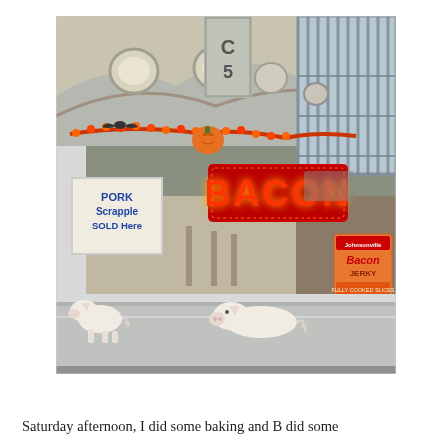[Figure (photo): Indoor market stall with a large red LED 'BACON' sign, a hand-written 'Pork Scrapple Sold Here' sign, Halloween decorations including orange garland lights and a pumpkin, a Bacon Jerky product display box, and two white ceramic pig figurines on a stainless steel counter. The market hall has a vaulted wooden ceiling with large round light fixtures and a tall arched window on the right side. Sign column labeled C5 is visible at the top.]
Saturday afternoon, I did some baking and B did some